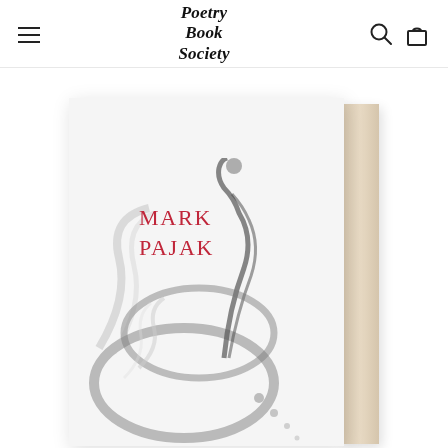Poetry Book Society
[Figure (photo): A book by Mark Pajak displayed at an angle showing the front cover and spine. The cover is white/light grey with red serif text reading MARK PAJAK and a black-and-white photograph of water splashing around a glass or circular object. The spine is a warm tan/beige colour.]